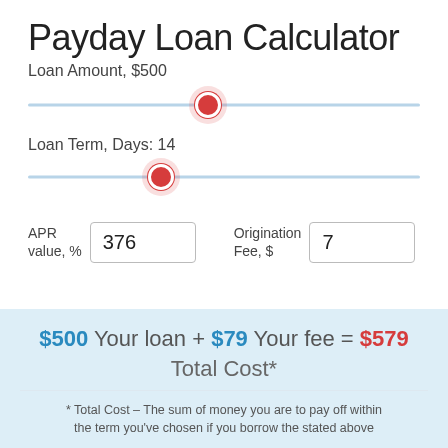Payday Loan Calculator
Loan Amount, $500
[Figure (infographic): Horizontal slider control with red circular thumb positioned at approximately 46% showing loan amount selection at $500]
Loan Term, Days: 14
[Figure (infographic): Horizontal slider control with red circular thumb positioned at approximately 34% showing loan term selection at 14 days]
APR value, % 376
Origination Fee, $ 7
$500 Your loan + $79 Your fee = $579 Total Cost*
* Total Cost – The sum of money you are to pay off within the term you've chosen if you borrow the stated above